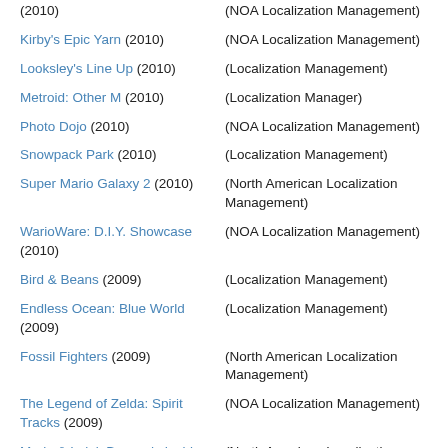(2010) | (NOA Localization Management)
Kirby's Epic Yarn (2010) | (NOA Localization Management)
Looksley's Line Up (2010) | (Localization Management)
Metroid: Other M (2010) | (Localization Manager)
Photo Dojo (2010) | (NOA Localization Management)
Snowpack Park (2010) | (Localization Management)
Super Mario Galaxy 2 (2010) | (North American Localization Management)
WarioWare: D.I.Y. Showcase (2010) | (NOA Localization Management)
Bird & Beans (2009) | (Localization Management)
Endless Ocean: Blue World (2009) | (Localization Management)
Fossil Fighters (2009) | (North American Localization Management)
The Legend of Zelda: Spirit Tracks (2009) | (NOA Localization Management)
Mario & Luigi: Bowser's Inside Story (2009) | (North American Localization Management)
New Super Mario Bros. Wii ...